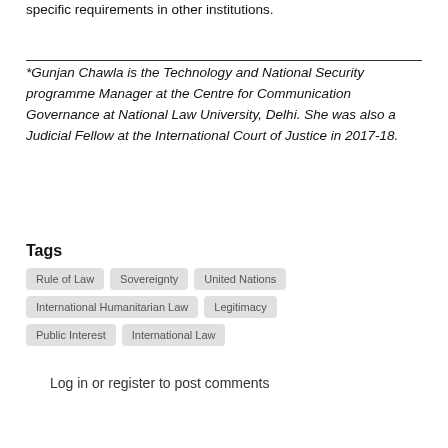specific requirements in other institutions.
*Gunjan Chawla is the Technology and National Security programme Manager at the Centre for Communication Governance at National Law University, Delhi. She was also a Judicial Fellow at the International Court of Justice in 2017-18.
Tags
Rule of Law
Sovereignty
United Nations
International Humanitarian Law
Legitimacy
Public Interest
International Law
Log in or register to post comments